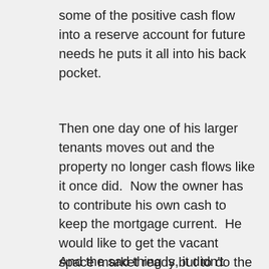some of the positive cash flow into a reserve account for future needs he puts it all into his back pocket.
Then one day one of his larger tenants moves out and the property no longer cash flows like it once did.  Now the owner has to contribute his own cash to keep the mortgage current.  He would like to get the vacant space market ready but to do the tenant improvements and pay a leasing commission will cost him more money than he has in his savings.  The space remains vacant because he tries to do the leasing himself to avoid paying a leasing commission.  And years pass with an under-performing property.
And the sad thing is, it didn't need to. If the owner